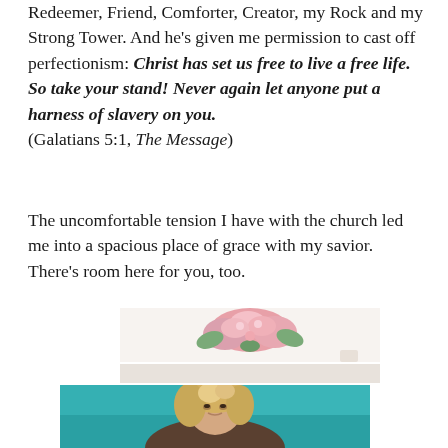Redeemer, Friend, Comforter, Creator, my Rock and my Strong Tower. And he’s given me permission to cast off perfectionism: Christ has set us free to live a free life. So take your stand! Never again let anyone put a harness of slavery on you. (Galatians 5:1, The Message)
The uncomfortable tension I have with the church led me into a spacious place of grace with my savior. There’s room here for you, too.
[Figure (photo): A decorative image showing pink flowers/wreath against a light floral background, likely a wall hanging or shelf decor.]
[Figure (photo): A portrait photo of a blonde woman sitting on a teal/turquoise couch or chair, looking at the camera.]